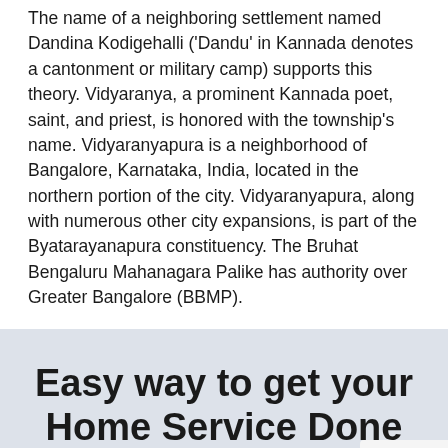The name of a neighboring settlement named Dandina Kodigehalli ('Dandu' in Kannada denotes a cantonment or military camp) supports this theory. Vidyaranya, a prominent Kannada poet, saint, and priest, is honored with the township's name. Vidyaranyapura is a neighborhood of Bangalore, Karnataka, India, located in the northern portion of the city. Vidyaranyapura, along with numerous other city expansions, is part of the Byatarayanapura constituency. The Bruhat Bengaluru Mahanagara Palike has authority over Greater Bangalore (BBMP).
Easy way to get your Home Service Done
Honest pricing. No surprises. No credit card required
[Figure (logo): reCAPTCHA badge with blue/green arrows logo icon and 'Privacy - Terms' label]